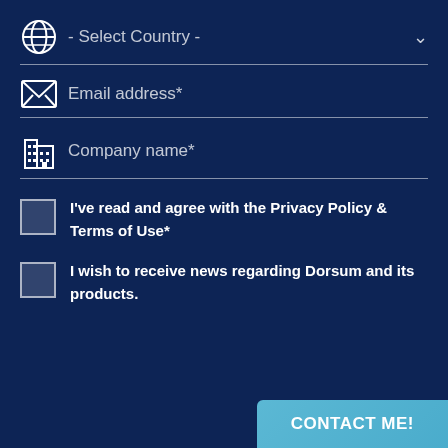- Select Country -
Email address*
Company name*
I've read and agree with the Privacy Policy & Terms of Use*
I wish to receive news regarding Dorsum and its products.
CONTACT ME!